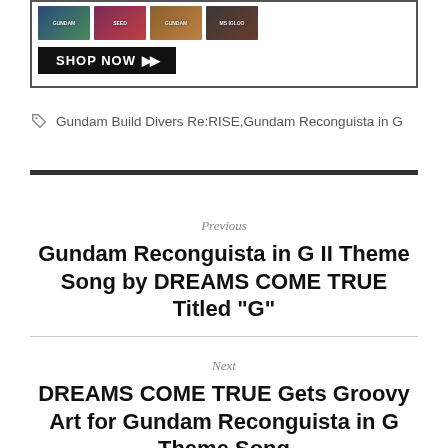[Figure (other): Banner box with anime DVD/Blu-ray cover images and a black SHOP NOW button with double arrow]
Gundam Build Divers Re:RISE,Gundam Reconguista in G
Previous
Gundam Reconguista in G II Theme Song by DREAMS COME TRUE Titled "G"
Next
DREAMS COME TRUE Gets Groovy Art for Gundam Reconguista in G Theme Song